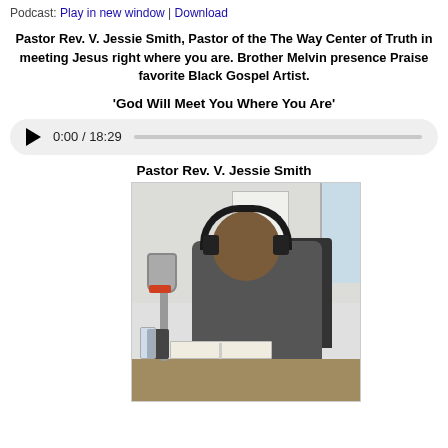Podcast: Play in new window | Download
Pastor Rev. V. Jessie Smith, Pastor of the The Way Center of Truth in meeting Jesus right where you are. Brother Melvin presence Praise favorite Black Gospel Artist.
‘God Will Meet You Where You Are’
[Figure (other): Audio player showing 0:00 / 18:29 with play button and progress bar]
Pastor Rev. V. Jessie Smith
[Figure (photo): Photo of Pastor Rev. V. Jessie Smith sitting at a desk with a microphone and headphones on, smiling, with an open book on the desk in front of him]